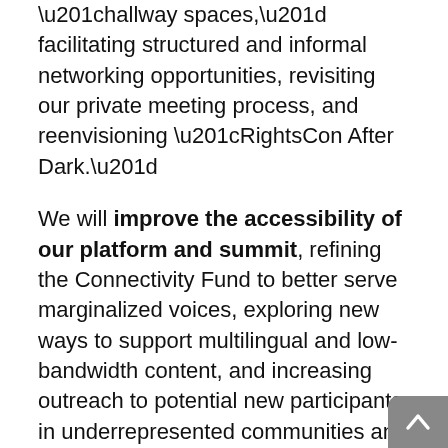“hallway spaces,” facilitating structured and informal networking opportunities, revisiting our private meeting process, and reenvisioning “RightsCon After Dark.”
We will improve the accessibility of our platform and summit, refining the Connectivity Fund to better serve marginalized voices, exploring new ways to support multilingual and low-bandwidth content, and increasing outreach to potential new participants in underrepresented communities and regions.
We will expand and strengthen our public program, centering issues of critical